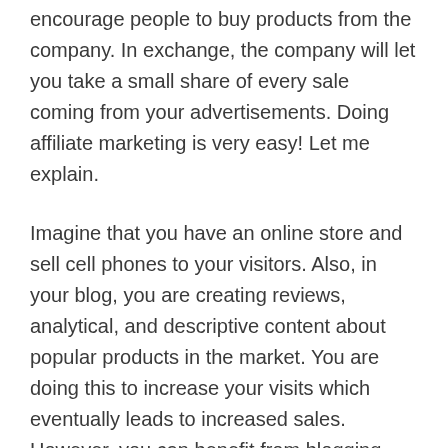encourage people to buy products from the company. In exchange, the company will let you take a small share of every sale coming from your advertisements. Doing affiliate marketing is very easy! Let me explain.
Imagine that you have an online store and sell cell phones to your visitors. Also, in your blog, you are creating reviews, analytical, and descriptive content about popular products in the market. You are doing this to increase your visits which eventually leads to increased sales. However, you can benefit from blogging even more.
You can start being an affiliate for a famous brand or affiliate platform and advertise as they want. For